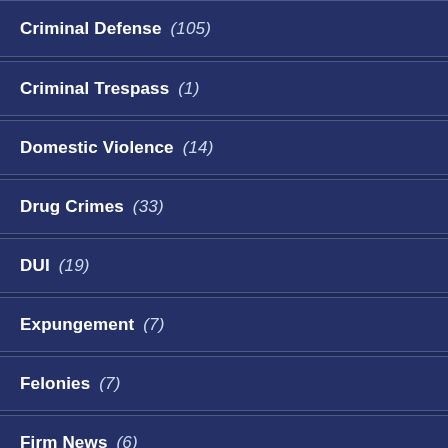Criminal Defense (105)
Criminal Trespass (1)
Domestic Violence (14)
Drug Crimes (33)
DUI (19)
Expungement (7)
Felonies (7)
Firm News (6)